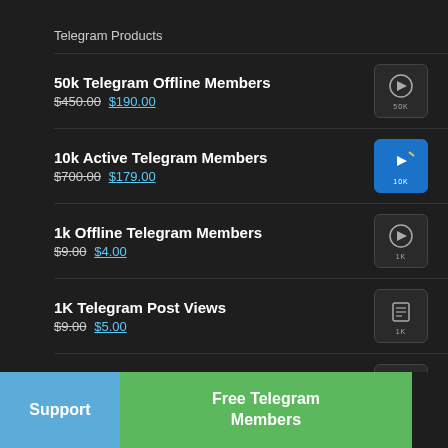Telegram Products
50k Telegram Offline Members  $450.00  $190.00
10k Active Telegram Members  $700.00  $179.00
1k Offline Telegram Members  $9.00  $4.00
1K Telegram Post Views  $9.00  $5.00
2k Offline Telegram Members  $18.00  $10.50
Support   Free Telegram Members